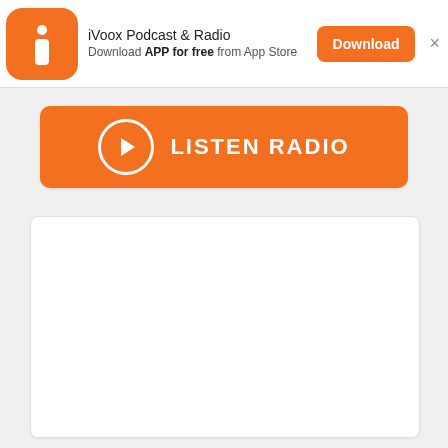iVoox Podcast & Radio — Download APP for free from App Store
[Figure (other): Orange LISTEN RADIO button with play circle icon]
[Figure (other): White empty content card/panel]